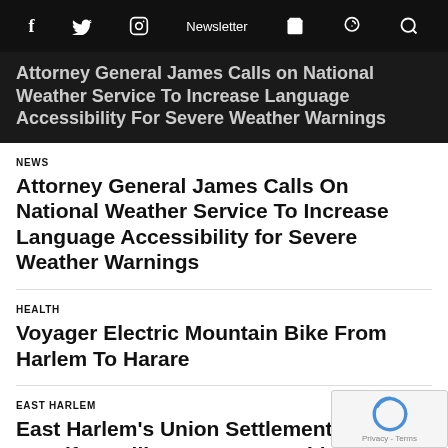f  Twitter  Instagram  Newsletter  Cart  Podcast  Search
Attorney General James Calls on National Weather Service To Increase Language Accessibility For Severe Weather Warnings
NEWS
Attorney General James Calls On National Weather Service To Increase Language Accessibility for Severe Weather Warnings
HEALTH
Voyager Electric Mountain Bike From Harlem To Harare
EAST HARLEM
East Harlem's Union Settlement Names Jennifer Geiling As Its New Chief Executive Officer